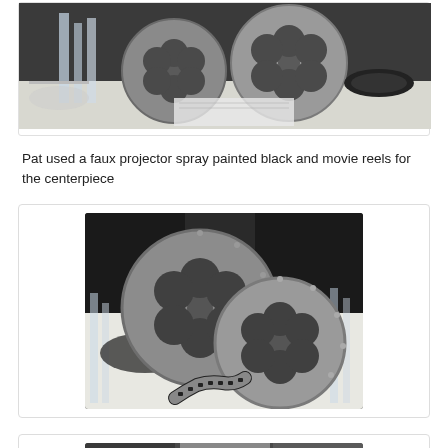[Figure (photo): Photo of a table centerpiece with movie reels, crystal glassware, black dishes and a faux projector on a white tablecloth]
Pat used a faux projector spray painted black and movie reels for the centerpiece
[Figure (photo): Close-up photo of two large silver/grey movie film reels with a strip of film unrolled, set on a table with black chairs and crystal glasses in background]
[Figure (photo): Partial photo of another table decoration scene, cropped at bottom of page]